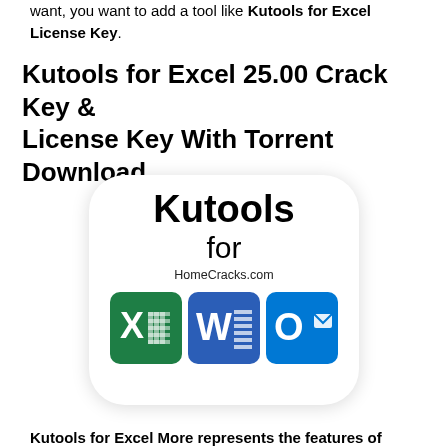want, you want to add a tool like Kutools for Excel License Key.
Kutools for Excel 25.00 Crack Key & License Key With Torrent Download
[Figure (logo): App icon with rounded corners showing 'Kutools for' text, 'HomeCracks.com' URL, and Microsoft Office app icons (Excel X, Word W, Outlook O) on white background]
Kutools for Excel More represents the features of